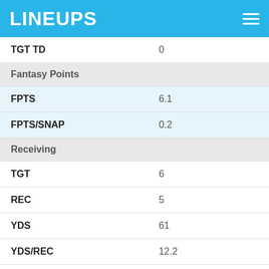LINEUPS
| TGT TD | 0 |
| Fantasy Points |  |
| FPTS | 6.1 |
| FPTS/SNAP | 0.2 |
| Receiving |  |
| TGT | 6 |
| REC | 5 |
| YDS | 61 |
| YDS/REC | 12.2 |
| TD | 0 |
| LONG | 23 |
| CATCH % | 83.3% |
| Rushing |  |